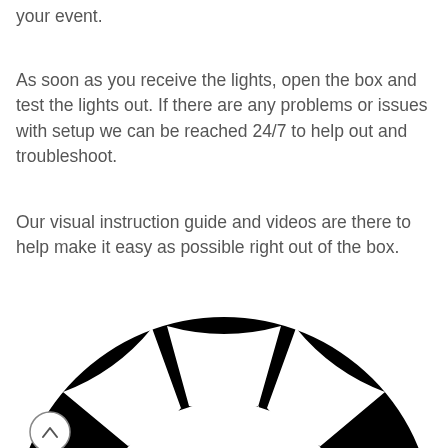your event.
As soon as you receive the lights, open the box and test the lights out. If there are any problems or issues with setup we can be reached 24/7 to help out and troubleshoot.
Our visual instruction guide and videos are there to help make it easy as possible right out of the box.
[Figure (illustration): Black and white circular logo/icon showing a ring with segmented cutouts (resembling a wheel or spool), partially cropped at the bottom of the page. A small circular back-to-top button with a chevron up arrow is visible in the lower left.]